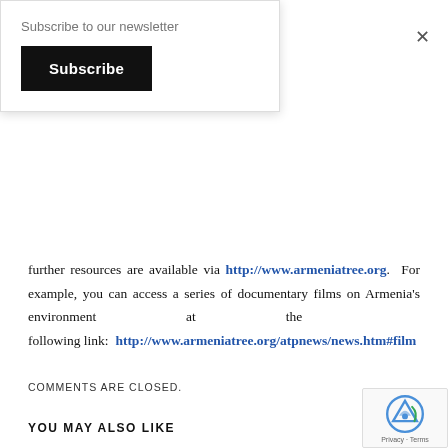Subscribe to our newsletter
Subscribe
further resources are available via http://www.armeniatree.org. For example, you can access a series of documentary films on Armenia’s environment at the following link: http://www.armeniatree.org/atpnews/news.htm#film
COMMENTS ARE CLOSED.
YOU MAY ALSO LIKE
OPINIONS
NCWA Head Explains April 24+1